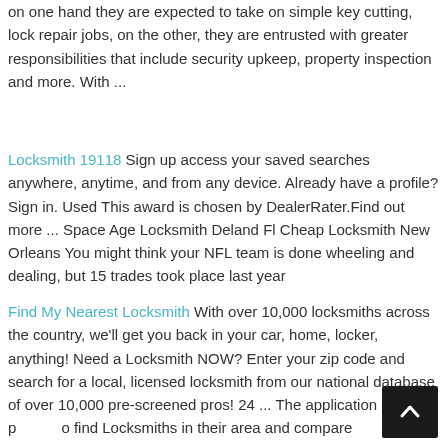on one hand they are expected to take on simple key cutting, lock repair jobs, on the other, they are entrusted with greater responsibilities that include security upkeep, property inspection and more. With ...
Locksmith 19118 Sign up access your saved searches anywhere, anytime, and from any device. Already have a profile? Sign in. Used This award is chosen by DealerRater.Find out more ... Space Age Locksmith Deland Fl Cheap Locksmith New Orleans You might think your NFL team is done wheeling and dealing, but 15 trades took place last year
Find My Nearest Locksmith With over 10,000 locksmiths across the country, we'll get you back in your car, home, locker, anything! Need a Locksmith NOW? Enter your zip code and search for a local, licensed locksmith from our national database of over 10,000 pre-screened pros! 24 ... The application allows p to find Locksmiths in their area and compare